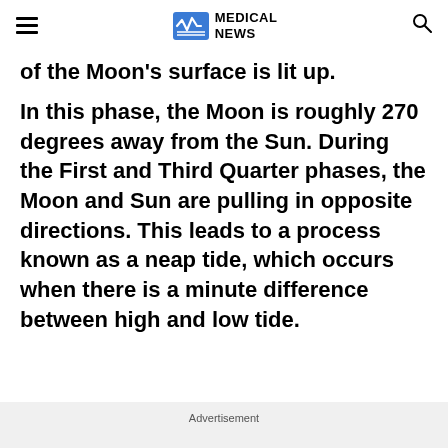MEDICAL NEWS
of the Moon's surface is lit up.
In this phase, the Moon is roughly 270 degrees away from the Sun. During the First and Third Quarter phases, the Moon and Sun are pulling in opposite directions. This leads to a process known as a neap tide, which occurs when there is a minute difference between high and low tide.
Advertisement